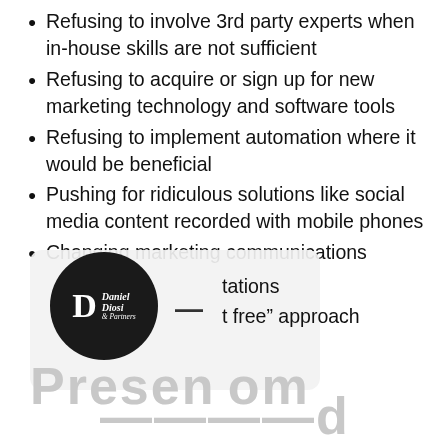Refusing to involve 3rd party experts when in-house skills are not sufficient
Refusing to acquire or sign up for new marketing technology and software tools
Refusing to implement automation where it would be beneficial
Pushing for ridiculous solutions like social media content recorded with mobile phones
Changing marketing communications
[Figure (logo): Daniel Diosi & Partners logo — black circle with white D letter and italic text Daniel Diosi & Partners]
tations
t free” approach